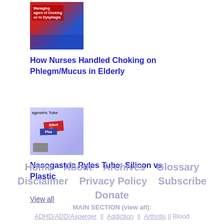[Figure (photo): Book/article cover image for choking in elderly article, red and blue tones with text overlay about managing choking/dysphagia]
How Nurses Handled Choking on Phlegm/Mucus in Elderly
[Figure (photo): Image showing nasogastric Ryles tube options - silicon vs plastic, with colored label tags]
Nasogastric Ryles Tube: Silicon vs Plastic
View all
Home    About    Archives    Glossary    Disclaimer    Privacy Policy    Subscribe    Donate    MAIN SECTION (view all):    ADHD/ADD/Asperger || Addiction || Arthritis || Blood